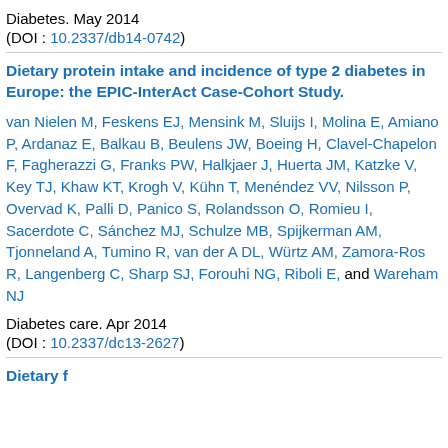Diabetes. May 2014
(DOI : 10.2337/db14-0742)
Dietary protein intake and incidence of type 2 diabetes in Europe: the EPIC-InterAct Case-Cohort Study.
van Nielen M, Feskens EJ, Mensink M, Sluijs I, Molina E, Amiano P, Ardanaz E, Balkau B, Beulens JW, Boeing H, Clavel-Chapelon F, Fagherazzi G, Franks PW, Halkjaer J, Huerta JM, Katzke V, Key TJ, Khaw KT, Krogh V, Kühn T, Menéndez VV, Nilsson P, Overvad K, Palli D, Panico S, Rolandsson O, Romieu I, Sacerdote C, Sánchez MJ, Schulze MB, Spijkerman AM, Tjonneland A, Tumino R, van der A DL, Würtz AM, Zamora-Ros R, Langenberg C, Sharp SJ, Forouhi NG, Riboli E, and Wareham NJ
Diabetes care. Apr 2014
(DOI : 10.2337/dc13-2627)
Dietary f...